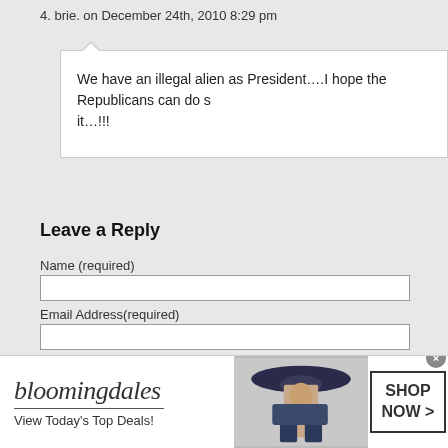4. brie. on December 24th, 2010 8:29 pm
We have an illegal alien as President….I hope the Republicans can do s it…!!!
Leave a Reply
Name (required)
Email Address(required)
Website
[Figure (screenshot): Bloomingdales advertisement banner with text 'bloomingdales', 'View Today's Top Deals!', a model in a wide-brim hat, and a 'SHOP NOW >' button]